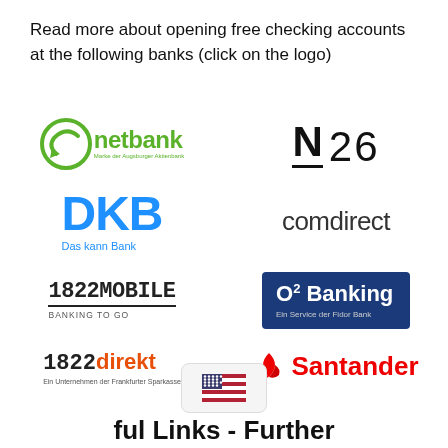Read more about opening free checking accounts at the following banks (click on the logo)
[Figure (logo): netbank logo - green circular arrow icon with text 'netbank' and subtitle 'Marke der Augsburger Aktienbank']
[Figure (logo): N26 logo - bold N with underline followed by '26']
[Figure (logo): DKB logo - blue bold letters with subtitle 'Das kann Bank']
[Figure (logo): comdirect logo - text in dark gray]
[Figure (logo): 1822MOBILE logo with subtitle 'BANKING TO GO']
[Figure (logo): O2 Banking logo on dark blue background with subtitle 'Ein Service der Fidor Bank']
[Figure (logo): 1822direkt logo with subtitle 'Ein Unternehmen der Frankfurter Sparkasse']
[Figure (logo): Santander logo with red flame and text]
[Figure (illustration): US flag icon in a rounded rectangle box]
ful Links - Further